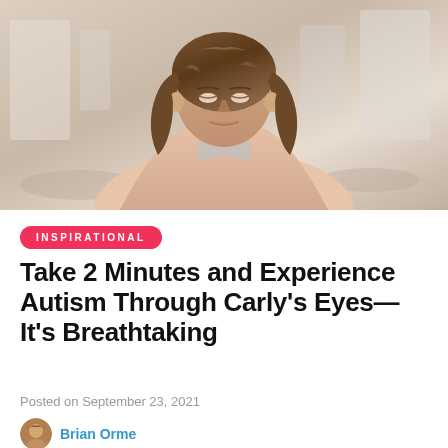[Figure (photo): A young woman with wavy brown hair wearing a pink/salmon cardigan, sitting at what appears to be a cafe or restaurant, looking downward. Background is blurred showing windows and tables.]
INSPIRATIONAL
Take 2 Minutes and Experience Autism Through Carly's Eyes—It's Breathtaking
Posted on September 23, 2021
Brian Orme